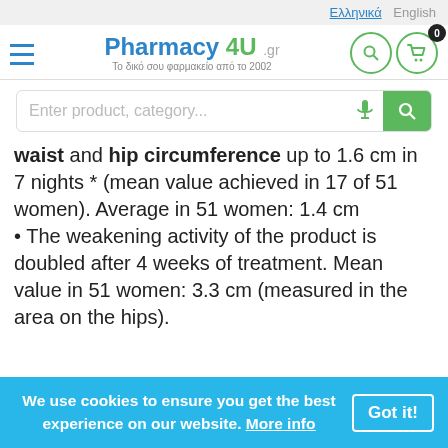Ελληνικά  English
[Figure (logo): Pharmacy 4U .gr logo with tagline 'Το δικό σου φαρμακείο από το 2002', hamburger menu icon, search icon, and cart icon with badge 0]
[Figure (screenshot): Search box with placeholder 'Enter product, category...' with microphone and green search button]
waist and hip circumference up to 1.6 cm in 7 nights * (mean value achieved in 17 of 51 women). Average in 51 women: 1.4 cm
• The weakening activity of the product is doubled after 4 weeks of treatment. Mean value in 51 women: 3.3 cm (measured in the area on the hips).
We use cookies to ensure you get the best experience on our website. More info  Got it!